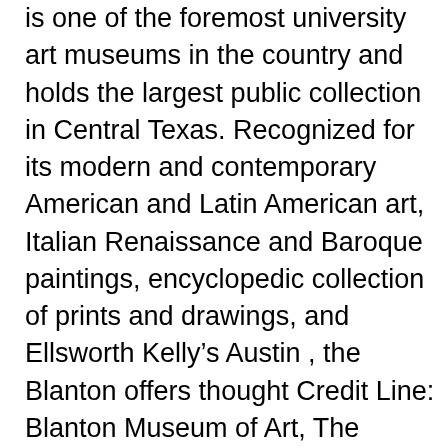is one of the foremost university art museums in the country and holds the largest public collection in Central Texas. Recognized for its modern and contemporary American and Latin American art, Italian Renaissance and Baroque paintings, encyclopedic collection of prints and drawings, and Ellsworth Kelly's Austin , the Blanton offers thought Credit Line: Blanton Museum of Art, The University of Texas at Austin, The Suida-Manning Collection, 2017 Accession Number: 2017.918 Object Description: Jacques Blanchard represents the personification of Charity as a woman breastfeeding a child and tending to Highlights from the Sand Mandala Project at the Blanton Museum of Art, January 9-13, 2013Tibetan Buddhist monks from the Drepung Loseling Monastery construct Blanton Museum of